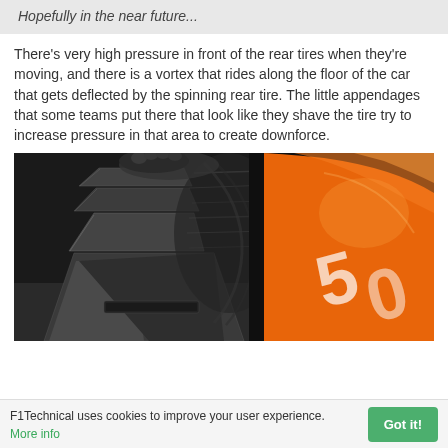Hopefully in the near future...
There's very high pressure in front of the rear tires when they're moving, and there is a vortex that rides along the floor of the car that gets deflected by the spinning rear tire. The little appendages that some teams put there that look like they shave the tire try to increase pressure in that area to create downforce.
[Figure (photo): Close-up photograph of an F1 car showing aerodynamic appendages near the rear tire area. Left side is black-and-white showing carbon fiber winglet/bargeboards, right side shows the bright orange bodywork of the car with the number 50 partially visible.]
F1Technical uses cookies to improve your user experience. More info